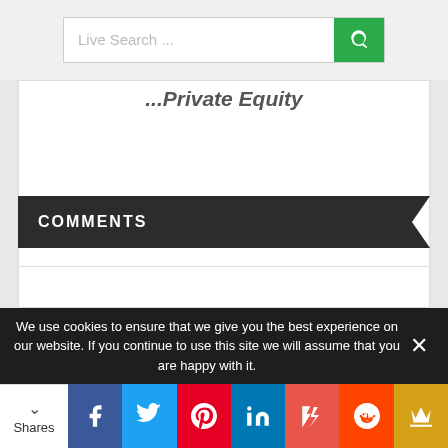Live Search ...
...Private Equity
COMMENTS
Pingback: Spotify files to go public on the NYSE with an Unusual IPO | GeorgMedia Internet Marketing News & Resources
We use cookies to ensure that we give you the best experience on our website. If you continue to use this site we will assume that you are happy with it.
Shares | Facebook | Twitter | Pinterest | LinkedIn | Flipboard | Reddit | Crown